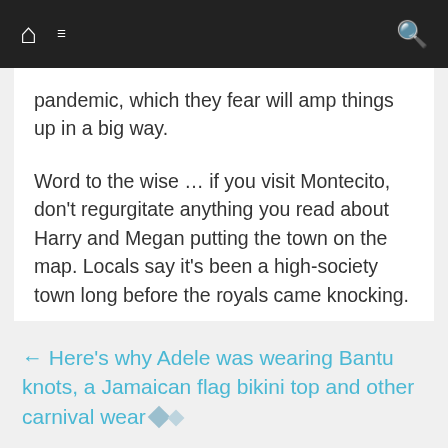Navigation bar with home, menu, and search icons
pandemic, which they fear will amp things up in a big way.
Word to the wise … if you visit Montecito, don't regurgitate anything you read about Harry and Megan putting the town on the map. Locals say it's been a high-society town long before the royals came knocking.
SourceTMZ
← Here's why Adele was wearing Bantu knots, a Jamaican flag bikini top and other carnival wear